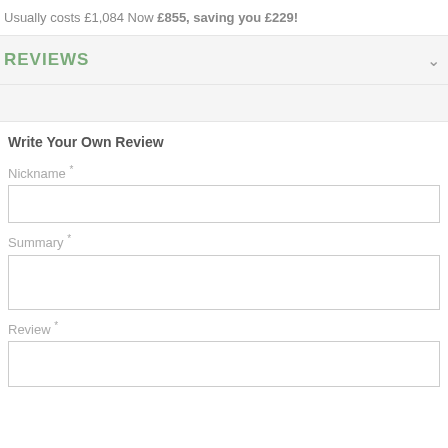Usually costs £1,084 Now £855, saving you £229!
REVIEWS
Write Your Own Review
Nickname *
Summary *
Review *